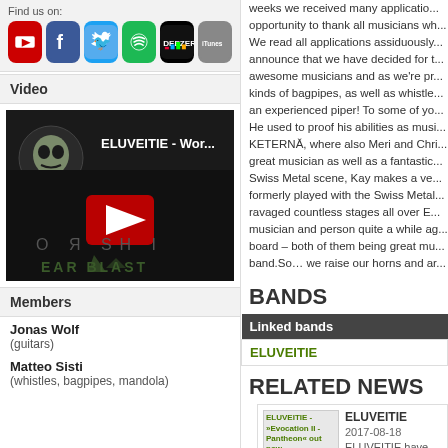[Figure (screenshot): Social media icons: YouTube, Facebook, Twitter, Spotify, Deezer, iTunes]
Video
[Figure (screenshot): YouTube video thumbnail for ELUVEITIE - Wor... with play button overlay, EAR BLAST branding]
Members
Jonas Wolf
(guitars)
Matteo Sisti
(whistles, bagpipes, mandola)
weeks we received many applications... opportunity to thank all musicians w... We read all applications assiduously... announce that we have decided for t... awesome musicians and as we're pr... kinds of bagpipes, as well as whistle... an experienced piper! To some of yo... He used to proof his abilities as musi... KETERNĂ, where also Meri and Chri... great musician as well as a fantastic... Swiss Metal scene, Kay makes a ve... formerly played with the Swiss Metal... ravaged countless stages all over E... musician and person quite a while ag... board – both of them being great mu... band.So… we raise our horns and ar...
BANDS
| Linked bands |
| --- |
| ELUVEITIE |
RELATED NEWS
[Figure (screenshot): ELUVEITIE - Evocation II - Pantheon out now album cover thumbnail]
ELUVEITIE 2017-08-18 ELUVEITIE have stored